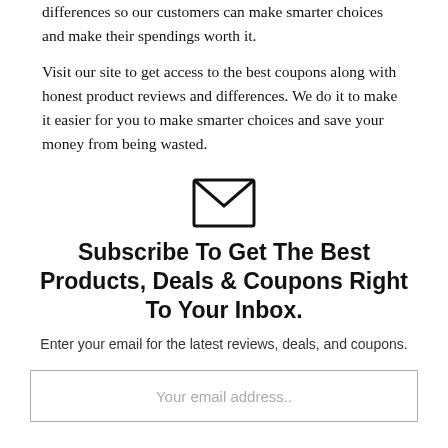differences so our customers can make smarter choices and make their spendings worth it.
Visit our site to get access to the best coupons along with honest product reviews and differences. We do it to make it easier for you to make smarter choices and save your money from being wasted.
[Figure (illustration): Envelope / email icon, outlined]
Subscribe To Get The Best Products, Deals & Coupons Right To Your Inbox.
Enter your email for the latest reviews, deals, and coupons.
Your email address..